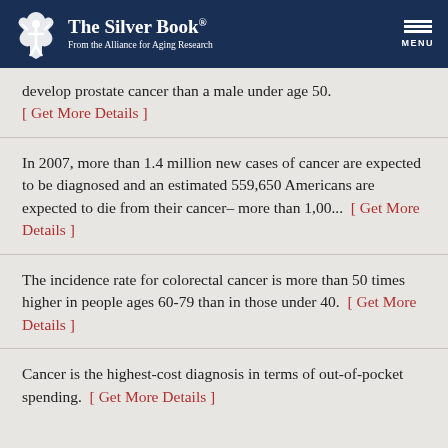The Silver Book® From the Alliance for Aging Research
develop prostate cancer than a male under age 50. [ Get More Details ]
In 2007, more than 1.4 million new cases of cancer are expected to be diagnosed and an estimated 559,650 Americans are expected to die from their cancer– more than 1,00... [ Get More Details ]
The incidence rate for colorectal cancer is more than 50 times higher in people ages 60-79 than in those under 40. [ Get More Details ]
Cancer is the highest-cost diagnosis in terms of out-of-pocket spending. [ Get More Details ]